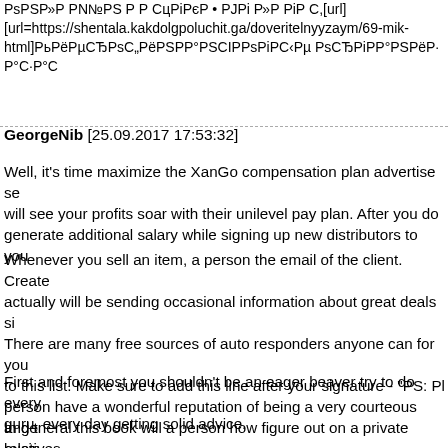РsРЅР»Р Р№РЅ Р Р СцРіРєР • РЈРі Р»Р РіР С,[url] [url=https://shentala.kakdolgpoluchit.ga/doveritelnуyzaym/69-mik-html]РьРёРєСЂРsС„РëPSP°PSCÍPsPIC‹Рµ РsСЂРiР°РSPëР·Р°С
GeorgeNib [25.09.2017 17:53:32]
Well, it's time maximize the XanGo compensation plan advertise se will see your profits soar with their unilevel pay plan. After you do generate additional salary while signing up new distributors to you
Whenever you sell an item, a person the email of the client. Create actually will be sending occasional information about great deals si There are many free sources of auto responders anyone can for you to this list. Make sure to add this line after your signature - "PS: Pl person have a wonderful reputation of being a very courteous and t relatives.
First and foremost you shouldn't be an eager beaver try to do every guru, every day getting solid advice.
In general this book will a person how figure out on a private busin with them. Using a stated plan of week you will start to make mone advertise promotion and bring visitors to that site.
I'm not one of those entrepreneurs will be always preaching "this m things as possible on autopilot some things do require manual labo